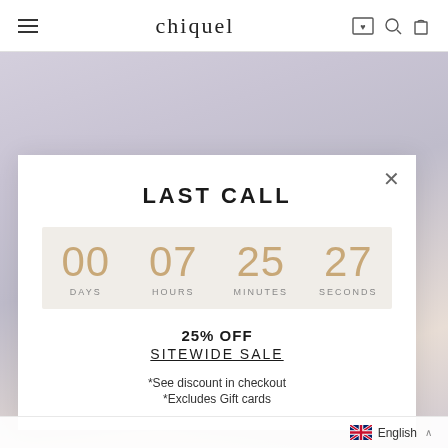chiquel
[Figure (photo): Background photo of a model wearing lavender/light purple clothing, partially visible behind the modal popup]
LAST CALL
00 DAYS  07 HOURS  25 MINUTES  27 SECONDS
25% OFF
SITEWIDE SALE
*See discount in checkout
*Excludes Gift cards
English